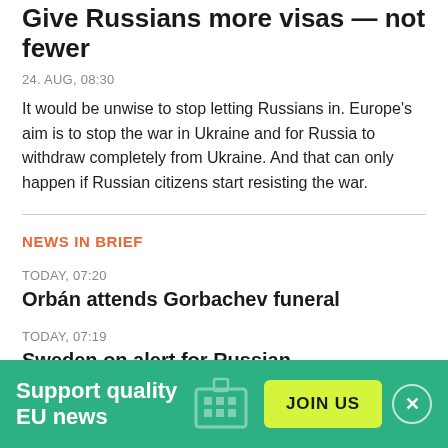Give Russians more visas — not fewer
24. AUG, 08:30
It would be unwise to stop letting Russians in. Europe's aim is to stop the war in Ukraine and for Russia to withdraw completely from Ukraine. And that can only happen if Russian citizens start resisting the war.
NEWS IN BRIEF
TODAY, 07:20
Orbán attends Gorbachev funeral
TODAY, 07:19
Sweden on alert for Russian disinformation attack
TODAY, 07:17
Italian far right voice division on Russia
Support quality EU news
JOIN US